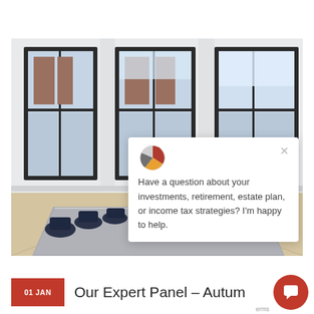[Figure (photo): Conference room photo showing a long table with dark chairs, three large windows with black frames overlooking a brick building. A chat popup overlay is visible in the lower right with a pie chart icon and text about investment questions.]
Have a question about your investments, retirement, estate plan, or income tax strategies? I'm happy to help.
Our Expert Panel – Autum